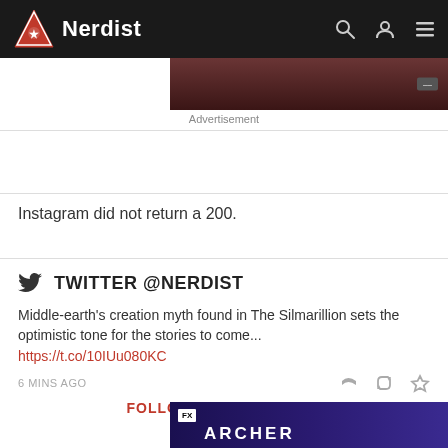Nerdist
[Figure (screenshot): Nerdist website header with logo (triangle with star), site name, search icon, user icon, and hamburger menu on dark background]
Advertisement
Instagram did not return a 200.
TWITTER @NERDIST
Middle-earth's creation myth found in The Silmarillion sets the optimistic tone for the stories to come...
https://t.co/10IUu080KC
6 MINS AGO
FOLLOW US ON TWITTER
[Figure (screenshot): Bottom advertisement strip showing FX network logo and stylized colorful show artwork]